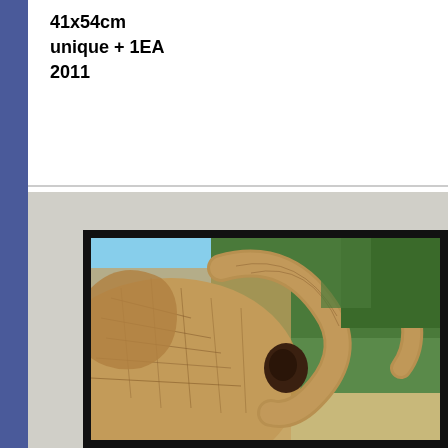41x54cm
unique + 1EA
2011
[Figure (photo): Framed photograph of a close-up elephant (head and trunk visible) with trees and savanna background, displayed hanging on a light gray wall. The photo is in a black frame.]